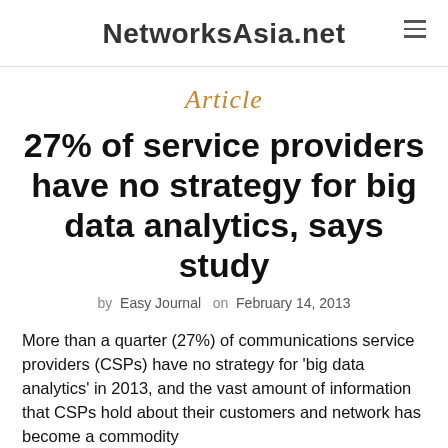NetworksAsia.net
Article
27% of service providers have no strategy for big data analytics, says study
by Easy Journal on February 14, 2013
More than a quarter (27%) of communications service providers (CSPs) have no strategy for 'big data analytics' in 2013, and the vast amount of information that CSPs hold about their customers and network has become a commodity